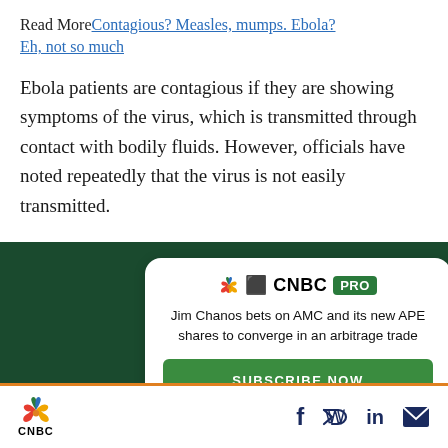Read More Contagious? Measles, mumps. Ebola? Eh, not so much
Ebola patients are contagious if they are showing symptoms of the virus, which is transmitted through contact with bodily fluids. However, officials have noted repeatedly that the virus is not easily transmitted.
[Figure (infographic): CNBC PRO advertisement card on dark green background with headline 'Jim Chanos bets on AMC and its new APE shares to converge in an arbitrage trade' and a green SUBSCRIBE NOW button. A close X button appears top right.]
CNBC logo with social media icons: Facebook, Twitter, LinkedIn, Email